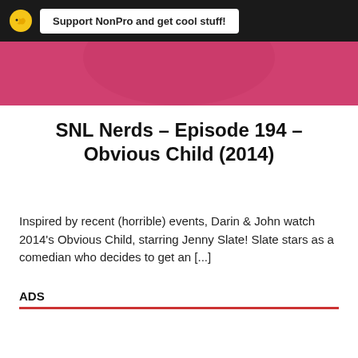Support NonPro and get cool stuff!
[Figure (photo): Pink/magenta colored image banner cropped at top]
SNL Nerds – Episode 194 – Obvious Child (2014)
Inspired by recent (horrible) events, Darin & John watch 2014's Obvious Child, starring Jenny Slate! Slate stars as a comedian who decides to get an [...]
ADS